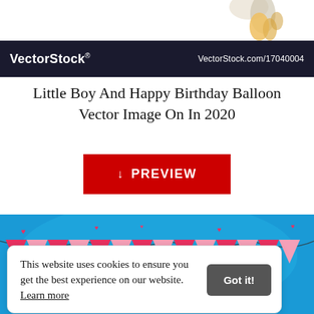[Figure (illustration): Partial illustration of a hand holding something, cropped at top of page, white background]
VectorStock® VectorStock.com/17040004
Little Boy And Happy Birthday Balloon Vector Image On In 2020
[Figure (screenshot): Red PREVIEW download button]
[Figure (illustration): Birthday card illustration with blue background, pink and red pennant bunting, and text 'THIS CUTE BOY HAS STOLEN' and partial text 'IS AS SPECIAL']
This website uses cookies to ensure you get the best experience on our website. Learn more